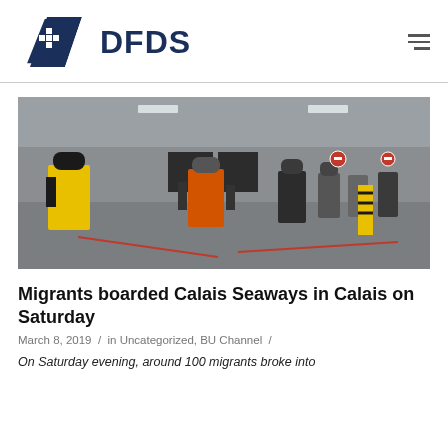DFDS
[Figure (photo): Interior of a large ferry car deck with people in high-visibility jackets standing around. One person in yellow vest faces camera, another in orange vest walks toward camera. Several others visible in the background near barriers and signage.]
Migrants boarded Calais Seaways in Calais on Saturday
March 8, 2019  /  in Uncategorized, BU Channel  /
On Saturday evening, around 100 migrants broke into